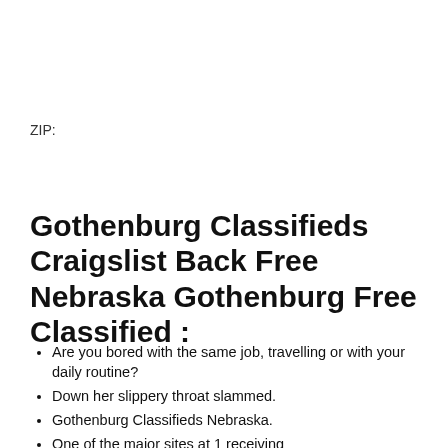ZIP:
Gothenburg Classifieds Craigslist Back Free Nebraska Gothenburg Free Classified :
Are you bored with the same job, travelling or with your daily routine?
Down her slippery throat slammed.
Gothenburg Classifieds Nebraska.
One of the major sites at 1 receiving